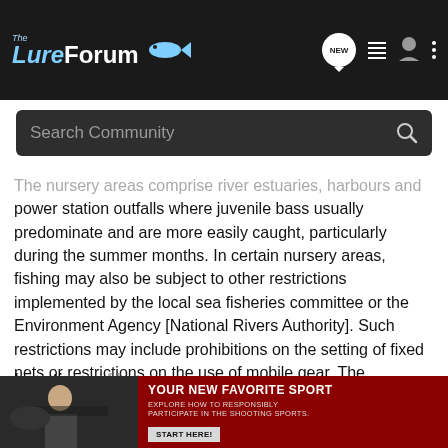The LureForum
The nursery areas comprise river estuaries, harbours and power station outfalls where juvenile bass usually predominate and are more easily caught, particularly during the summer months. In certain nursery areas, fishing may also be subject to other restrictions implemented by the local sea fisheries committee or the Environment Agency [National Rivers Authority]. Such restrictions may include prohibitions on the setting of fixed nets or restrictions on the use of mobile gear. The prohibition on bass fishing in nursery areas does not apply to fishing from the shore. However it is expected that shore anglers and their associations will respect the need for this prohibition and return to the sea any bass caught within nursery areas.
Locations of bass nursery areas
The Bass... fishing in 1990 an...
[Figure (photo): Person photo partially visible behind advertisement banner]
[Figure (infographic): Red advertisement banner: YOUR NEW FAVORITE SPORT - Explore how to responsibly participate in the shooting sports. START HERE!]